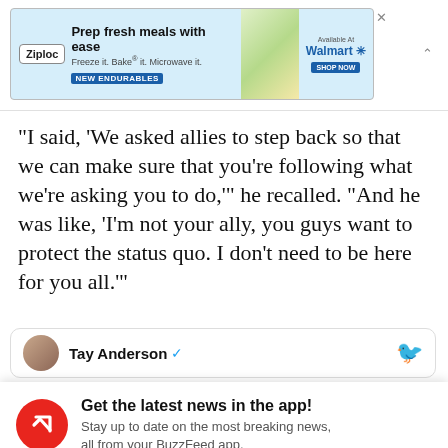[Figure (screenshot): Ziploc advertisement banner: 'Prep fresh meals with ease. Freeze it. Bake it. Microwave it. NEW ENDURABLES. Available at Walmart. SHOP NOW.']
"I said, 'We asked allies to step back so that we can make sure that you're following what we're asking you to do,'" he recalled. "And he was like, 'I'm not your ally, you guys want to protect the status quo. I don't need to be here for you all.'"
[Figure (screenshot): Twitter/social card showing user 'Tay Anderson' with verified checkmark and Twitter bird icon]
Get the latest news in the app! Stay up to date on the most breaking news, all from your BuzzFeed app.
Maybe later
Get the app